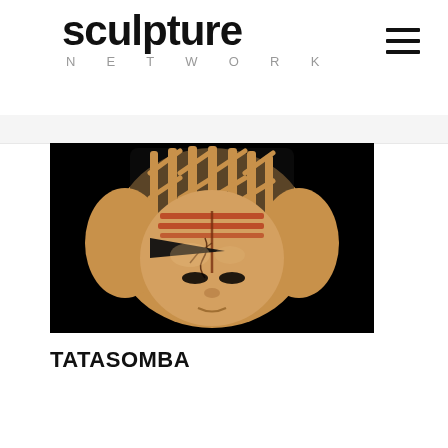sculpture NETWORK
[Figure (photo): Close-up photograph of a terracotta or bone-colored sculptural mask called TATASOMBA, set against a black background. The mask features a human face with hollow eyes and a crown-like latticed structure on top, with reddish-orange painted geometric lines across the forehead.]
TATASOMBA